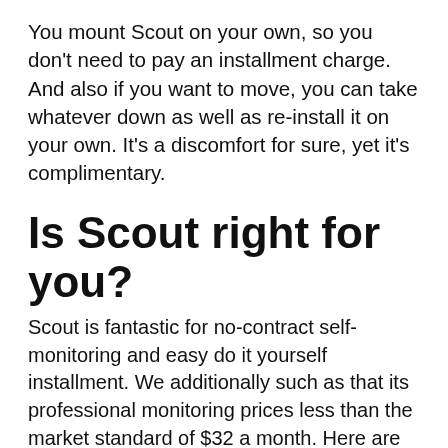You mount Scout on your own, so you don't need to pay an installment charge. And also if you want to move, you can take whatever down as well as re-install it on your own. It's a discomfort for sure, yet it's complimentary.
Is Scout right for you?
Scout is fantastic for no-contract self-monitoring and easy do it yourself installment. We additionally such as that its professional monitoring prices less than the market standard of $32 a month. Here are some great reasons to pick Scout over other safety and security systems:
Mobile back-up: Scout's mobile back-up is